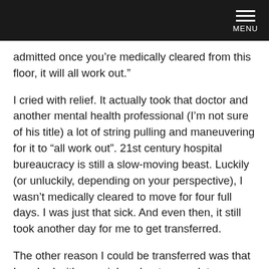MENU
admitted once you’re medically cleared from this floor, it will all work out.”
I cried with relief. It actually took that doctor and another mental health professional (I’m not sure of his title) a lot of string pulling and maneuvering for it to “all work out”. 21st century hospital bureaucracy is still a slow-moving beast. Luckily (or unluckily, depending on your perspective), I wasn’t medically cleared to move for four full days. I was just that sick. And even then, it still took another day for me to get transferred.
The other reason I could be transferred was that I worked with a social worker to complete